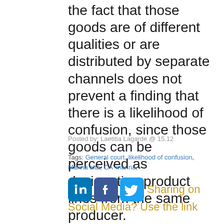the fact that those goods are of different qualities or are distributed by separate channels does not prevent a finding that there is a likelihood of confusion, since those goods can be perceived as designating product lines from the same producer.
Posted by: Laetitia Lagarde @ 15.12
Tags: General court, likelihood of confusion, Marina alta, CA' marina,
[Figure (infographic): LinkedIn, Facebook, and Twitter social media sharing icons followed by text 'Sharing on Social Media? Use the link']